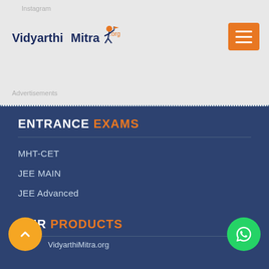Instagram
[Figure (logo): VidyarthiMitra.org logo with a figure jumping and holding a flag]
Advertisements
ENTRANCE EXAMS
MHT-CET
JEE MAIN
JEE Advanced
NEET UG
NEET PG
NDA
CLAT
OUR PRODUCTS
VidyarthiMitra.org